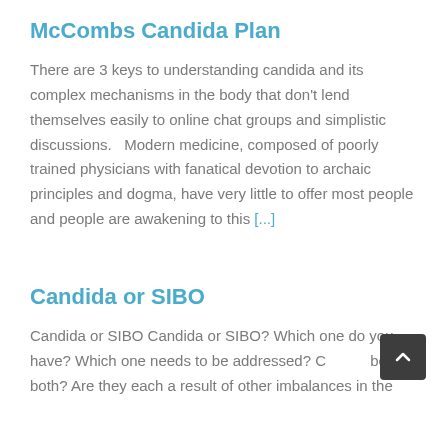McCombs Candida Plan
There are 3 keys to understanding candida and its complex mechanisms in the body that don't lend themselves easily to online chat groups and simplistic discussions.   Modern medicine, composed of poorly trained physicians with fanatical devotion to archaic principles and dogma, have very little to offer most people and people are awakening to this [...]
Candida or SIBO
Candida or SIBO Candida or SIBO? Which one do you have? Which one needs to be addressed? Could it be both? Are they each a result of other imbalances in the